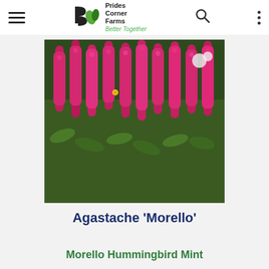Prides Corner Farms — Better Together
[Figure (photo): Dense field of Agastache 'Morello' plants with tall spikes of deep pink-magenta flowers and dark green foliage, photographed outdoors.]
Agastache 'Morello'
Morello Hummingbird Mint
more info